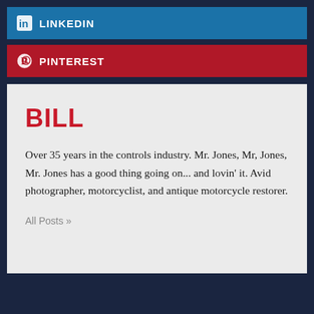LINKEDIN
PINTEREST
BILL
Over 35 years in the controls industry. Mr. Jones, Mr, Jones, Mr. Jones has a good thing going on... and lovin' it. Avid photographer, motorcyclist, and antique motorcycle restorer.
All Posts »